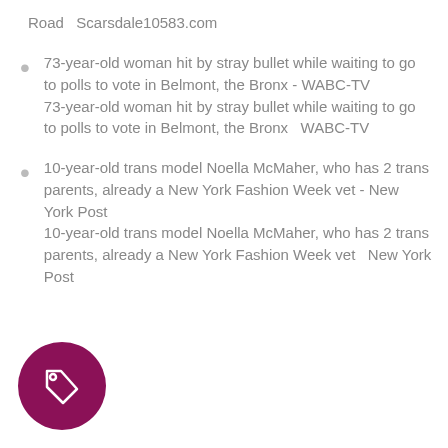Road  Scarsdale10583.com
73-year-old woman hit by stray bullet while waiting to go to polls to vote in Belmont, the Bronx - WABC-TV
73-year-old woman hit by stray bullet while waiting to go to polls to vote in Belmont, the Bronx  WABC-TV
10-year-old trans model Noella McMaher, who has 2 trans parents, already a New York Fashion Week vet - New York Post
10-year-old trans model Noella McMaher, who has 2 trans parents, already a New York Fashion Week vet  New York Post
[Figure (illustration): Dark maroon/purple circle with a price tag icon (outline of a tag with a small circle) in white]